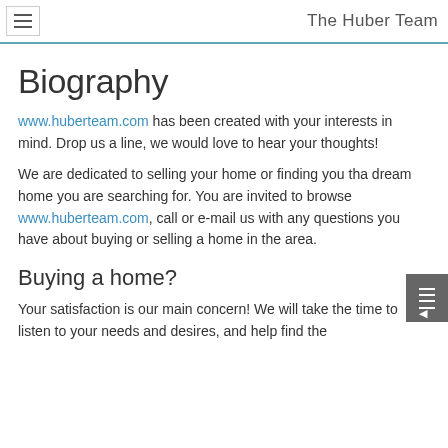The Huber Team
Biography
www.huberteam.com has been created with your interests in mind. Drop us a line, we would love to hear your thoughts!
We are dedicated to selling your home or finding you that dream home you are searching for. You are invited to browse www.huberteam.com, call or e-mail us with any questions you have about buying or selling a home in the area.
Buying a home?
Your satisfaction is our main concern! We will take the time to listen to your needs and desires, and help find the